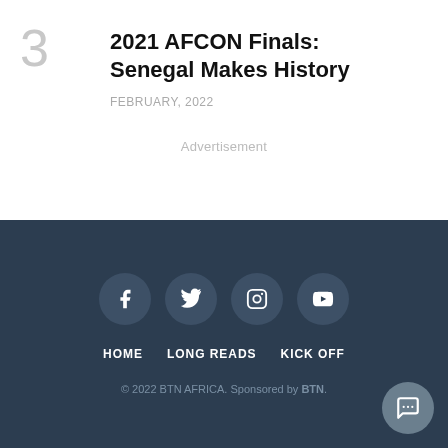2021 AFCON Finals: Senegal Makes History
FEBRUARY, 2022
Advertisement
HOME   LONG READS   KICK OFF
© 2022 BTN AFRICA. Sponsored by BTN.